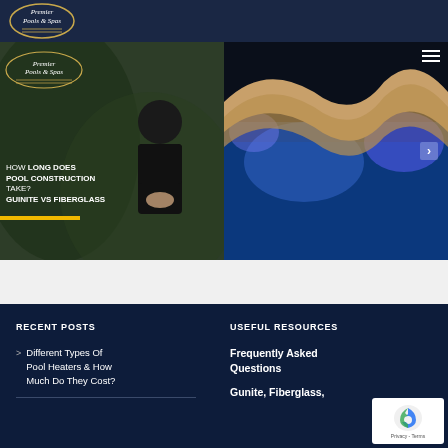Premier Pools & Spas
[Figure (screenshot): Two side-by-side images on a website. Left image shows a Premier Pools & Spas branded thumbnail with text 'HOW LONG DOES POOL CONSTRUCTION TAKE? GUNITE VS FIBERGLASS' and a man in black shirt. Right image shows a blue-lit pool/water feature at night with curved stonework.]
RECENT POSTS
USEFUL RESOURCES
Different Types Of Pool Heaters & How Much Do They Cost?
Frequently Asked Questions
Gunite, Fiberglass,